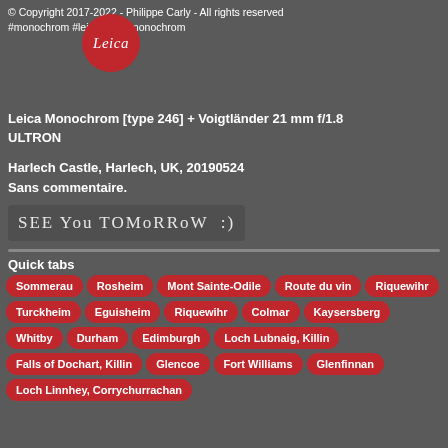© Copyright 2017-2022 - Philippe Carly - All rights reserved
#monochrom #leica #leicamonochrom
[Figure (logo): Leica red circle logo with cursive white 'Leica' text]
Leica Monochrom [type 246] + Voigtländer 21 mm f/1.8 ULTRON
Harlech Castle, Harlech, UK, 20190524
Sans commentaire.
[Figure (illustration): Handwritten style text reading 'SEE YOU TOMORROW :)' on a dark gray background]
Quick tabs
Sommerau
Rosheim
Mont Sainte-Odile
Route du vin
Riquewihr
Turckheim
Eguisheim
Riquewihr
Colmar
Kaysersberg
Whitby
Durham
Edimburgh
Loch Lubnaig, Killin
Falls of Dochart, Killin
Glencoe
Fort Williams
Glenfinnan
Loch Linnhey, Corrychurrachan